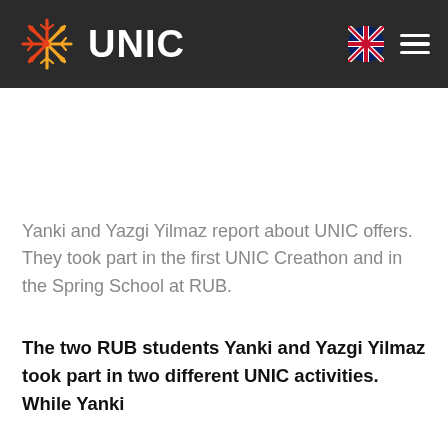UNIC
Yanki and Yazgi Yilmaz report about UNIC offers. They took part in the first UNIC Creathon and in the Spring School at RUB.
The two RUB students Yanki and Yazgi Yilmaz took part in two different UNIC activities. While Yanki...